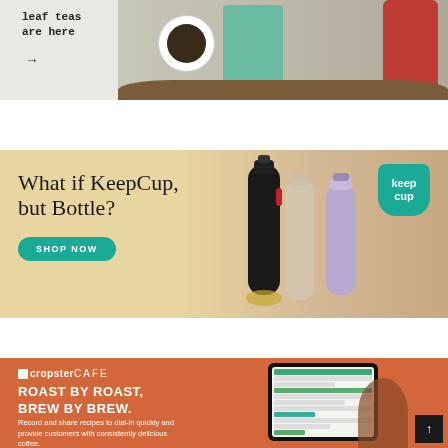[Figure (photo): Banner showing loose leaf teas product with text 'leaf teas are here' and arrow, with tea bowl, teal fabric, and red carafe on wooden table surface]
[Figure (photo): KeepCup bottle advertisement banner with text 'What if KeepCup, but Bottle?' and 'SHOP NOW' button, showing various water bottles, with KeepCup logo in top right corner. Background is warm beige/tan gradient.]
[Figure (photo): Cropster Cafe advertisement with orange background, logo, headline 'ROAST BY ROAST, BREW BY BREW.' and subtext about recording and sharing recipes. Shows tablet with software interface. Dark brown blob decoration and scroll-to-top button.]